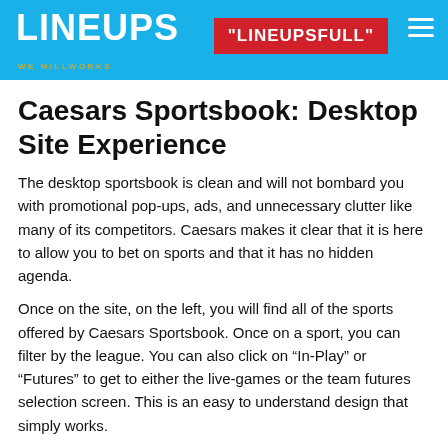LINEUPS | "LINEUPSFULL"
Caesars Sportsbook: Desktop Site Experience
The desktop sportsbook is clean and will not bombard you with promotional pop-ups, ads, and unnecessary clutter like many of its competitors. Caesars makes it clear that it is here to allow you to bet on sports and that it has no hidden agenda.
Once on the site, on the left, you will find all of the sports offered by Caesars Sportsbook. Once on a sport, you can filter by the league. You can also click on “In-Play” or “Futures” to get to either the live-games or the team futures selection screen. This is an easy to understand design that simply works.